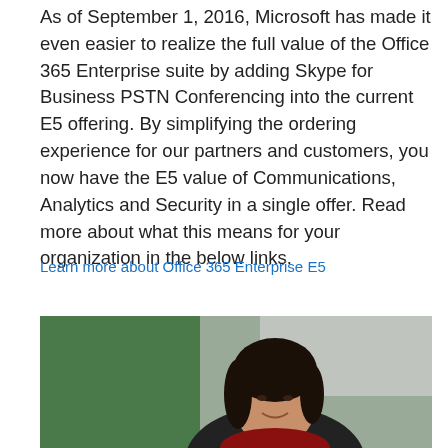As of September 1, 2016, Microsoft has made it even easier to realize the full value of the Office 365 Enterprise suite by adding Skype for Business PSTN Conferencing into the current E5 offering. By simplifying the ordering experience for our partners and customers, you now have the E5 value of Communications, Analytics and Security in a single offer. Read more about what this means for your organization in the below links.
Learn more about Office 365 Enterprise E5
[Figure (photo): A woman with dark hair smiling, in front of a blurred background with green and grey tones]